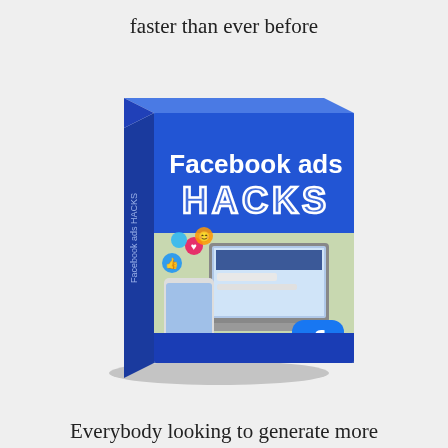faster than ever before
[Figure (illustration): 3D book cover illustration of 'Facebook ads HACKS' — blue cover with bold white text 'Facebook ads' at top, large stylized 'HACKS' lettering below, a photo of hands holding a phone with social media icons and a laptop with Facebook open, and a Facebook 'f' logo icon at the bottom right. The book is shown at a slight angle giving it a 3D perspective.]
Everybody looking to generate more